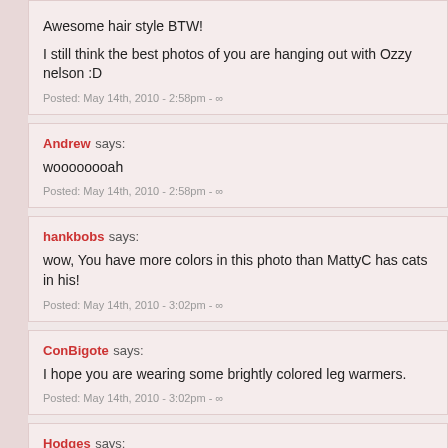Awesome hair style BTW!

I still think the best photos of you are hanging out with Ozzy nelson :D
Posted: May 14th, 2010 - 2:58pm - ∞
Andrew says:
woooooooah
Posted: May 14th, 2010 - 2:58pm - ∞
hankbobs says:
wow, You have more colors in this photo than MattyC has cats in his!
Posted: May 14th, 2010 - 3:02pm - ∞
ConBigote says:
I hope you are wearing some brightly colored leg warmers.
Posted: May 14th, 2010 - 3:02pm - ∞
Hodges says: